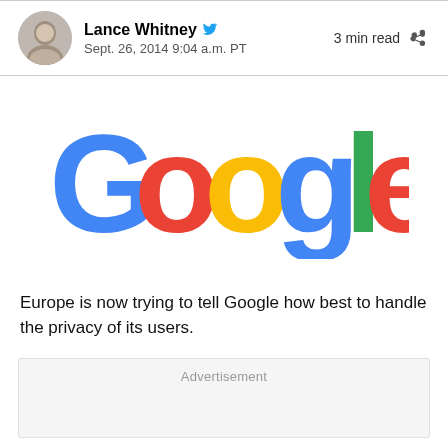Lance Whitney  Sept. 26, 2014 9:04 a.m. PT  3 min read
[Figure (logo): Google logo in classic multicolor (blue, red, yellow, green, red) large text style]
Europe is now trying to tell Google how best to handle the privacy of its users.
Advertisement